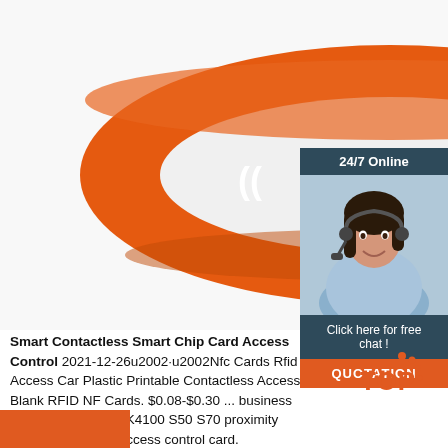[Figure (photo): Orange RFID silicone wristband with white RFID logo and signal marks on white background]
[Figure (photo): Customer service agent woman with headset smiling, with dark teal header '24/7 Online' and 'Click here for free chat!' text and orange QUOTATION button]
Smart Contactless Smart Chip Card Access Control 2021-12-26u2002·u2002Nfc Cards Rfid Access Car Plastic Printable Contactless Access Blank RFID NF Cards. $0.08-$0.30 ... business blank card T5577 TK4100 S50 S70 proximity 213 chip PVC rfid access control card. $0.05-$0.08 ... Proximity Card Bamboo Wood Business Cards RFID ISO14443A Smart NFC Wooden Hotel Key Card. $0.50-$0.70 ...
[Figure (logo): TOP logo with orange dots]